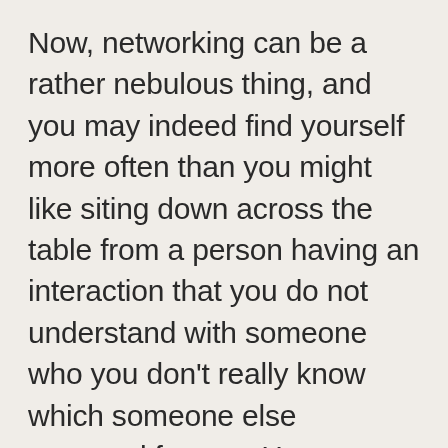Now, networking can be a rather nebulous thing, and you may indeed find yourself more often than you might like siting down across the table from a person having an interaction that you do not understand with someone who you don't really know which someone else arranged for you. However, you should treat this as a job interview if for no other reason